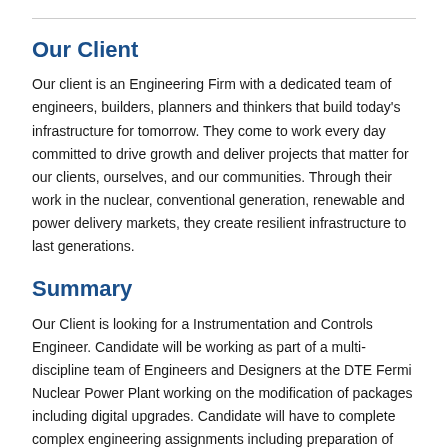Our Client
Our client is an Engineering Firm with a dedicated team of engineers, builders, planners and thinkers that build today's infrastructure for tomorrow. They come to work every day committed to drive growth and deliver projects that matter for our clients, ourselves, and our communities. Through their work in the nuclear, conventional generation, renewable and power delivery markets, they create resilient infrastructure to last generations.
Summary
Our Client is looking for a Instrumentation and Controls Engineer. Candidate will be working as part of a multi-discipline team of Engineers and Designers at the DTE Fermi Nuclear Power Plant working on the modification of packages including digital upgrades. Candidate will have to complete complex engineering assignments including preparation of